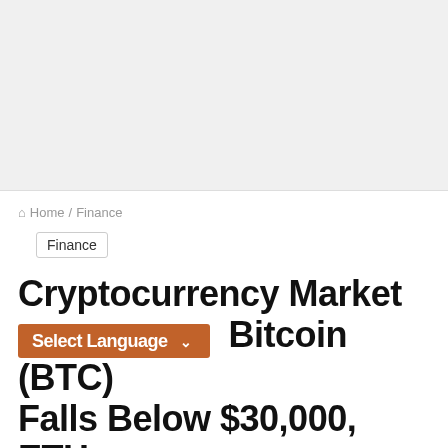[Figure (other): Advertisement / blank gray area at top of page]
Home / Finance
Finance
Cryptocurrency Market Price Crash — Bitcoin (BTC) Falls Below $30,000, ETH, SOL, XRP All End In Red